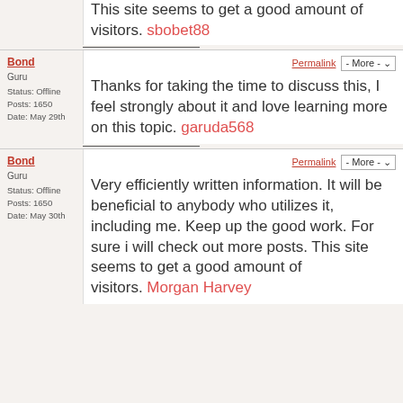This site seems to get a good amount of visitors. sbobet88
Bond | Permalink | - More -
Guru
Status: Offline
Posts: 1650
Date: May 29th
Thanks for taking the time to discuss this, I feel strongly about it and love learning more on this topic. garuda568
Bond | Permalink | - More -
Guru
Status: Offline
Posts: 1650
Date: May 30th
Very efficiently written information. It will be beneficial to anybody who utilizes it, including me. Keep up the good work. For sure i will check out more posts. This site seems to get a good amount of visitors. Morgan Harvey